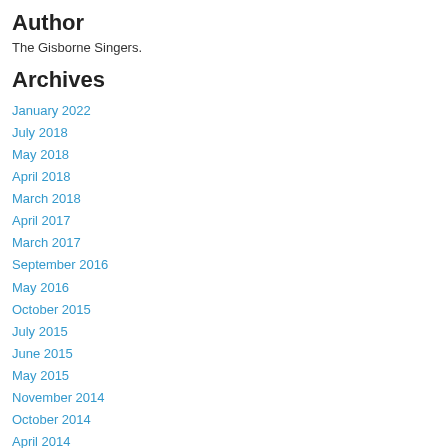Author
The Gisborne Singers.
Archives
January 2022
July 2018
May 2018
April 2018
March 2018
April 2017
March 2017
September 2016
May 2016
October 2015
July 2015
June 2015
May 2015
November 2014
October 2014
April 2014